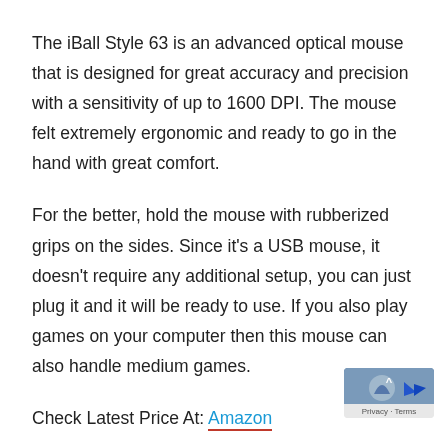The iBall Style 63 is an advanced optical mouse that is designed for great accuracy and precision with a sensitivity of up to 1600 DPI. The mouse felt extremely ergonomic and ready to go in the hand with great comfort.
For the better, hold the mouse with rubberized grips on the sides. Since it's a USB mouse, it doesn't require any additional setup, you can just plug it and it will be ready to use. If you also play games on your computer then this mouse can also handle medium games.
Check Latest Price At: Amazon